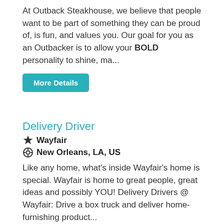At Outback Steakhouse, we believe that people want to be part of something they can be proud of, is fun, and values you. Our goal for you as an Outbacker is to allow your BOLD personality to shine, ma...
More Details
Delivery Driver
Wayfair
New Orleans, LA, US
Like any home, what's inside Wayfair's home is special. Wayfair is home to great people, great ideas and possibly YOU! Delivery Drivers @ Wayfair: Drive a box truck and deliver home-furnishing product...
More Details
Delivery Driver
Nike